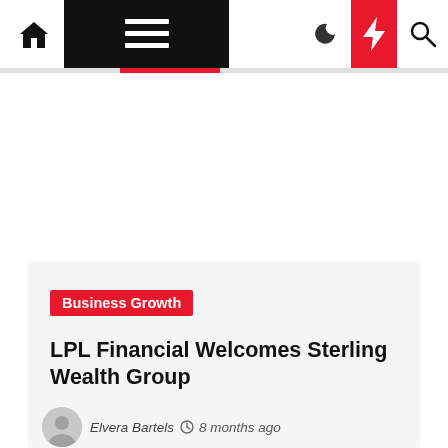Navigation bar with home, menu, moon, bolt, and search icons
Business Growth
LPL Financial Welcomes Sterling Wealth Group
Elvera Bartels  8 months ago